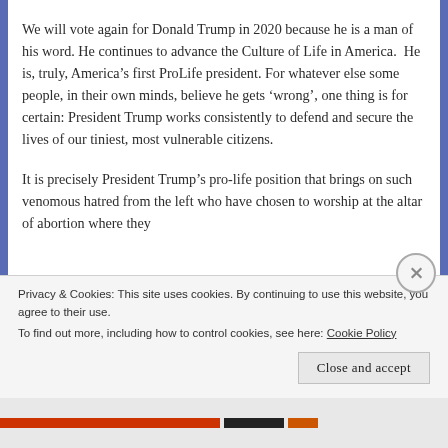We will vote again for Donald Trump in 2020 because he is a man of his word. He continues to advance the Culture of Life in America.  He is, truly, America’s first ProLife president. For whatever else some people, in their own minds, believe he gets ‘wrong’, one thing is for certain: President Trump works consistently to defend and secure the lives of our tiniest, most vulnerable citizens.
It is precisely President Trump’s pro-life position that brings on such venomous hatred from the left who have chosen to worship at the altar of abortion where they
Privacy & Cookies: This site uses cookies. By continuing to use this website, you agree to their use.
To find out more, including how to control cookies, see here: Cookie Policy
Close and accept